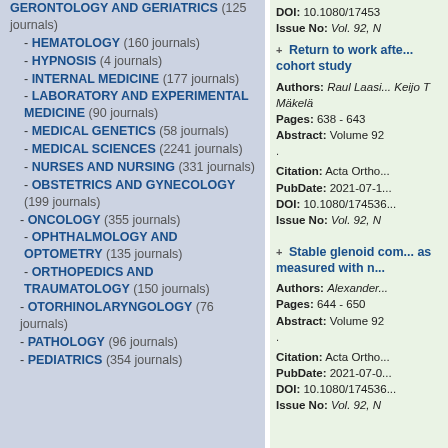GERONTOLOGY AND GERIATRICS (125 journals)
- HEMATOLOGY (160 journals)
- HYPNOSIS (4 journals)
- INTERNAL MEDICINE (177 journals)
- LABORATORY AND EXPERIMENTAL MEDICINE (90 journals)
- MEDICAL GENETICS (58 journals)
- MEDICAL SCIENCES (2241 journals)
- NURSES AND NURSING (331 journals)
- OBSTETRICS AND GYNECOLOGY (199 journals)
- ONCOLOGY (355 journals)
- OPHTHALMOLOGY AND OPTOMETRY (135 journals)
- ORTHOPEDICS AND TRAUMATOLOGY (150 journals)
- OTORHINOLARYNGOLOGY (76 journals)
- PATHOLOGY (96 journals)
- PEDIATRICS (354 journals)
DOI: 10.1080/17453... Issue No: Vol. 92, N...
+ Return to work afte... cohort study
Authors: Raul Laasi... Keijo T Mäkelä
Pages: 638 - 643
Abstract: Volume 92
.
Citation: Acta Ortho...
PubDate: 2021-07-1...
DOI: 10.1080/17453...
Issue No: Vol. 92, N...
+ Stable glenoid com... as measured with n...
Authors: Alexander...
Pages: 644 - 650
Abstract: Volume 92
.
Citation: Acta Ortho...
PubDate: 2021-07-0...
DOI: 10.1080/17453...
Issue No: Vol. 92, N...